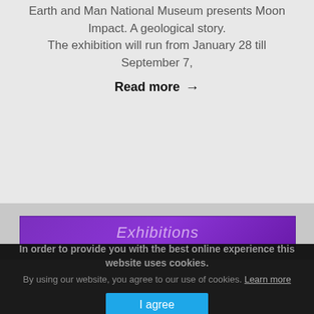Earth and Man National Museum presents Moon Impact. A geological story. The exhibition will run from January 28 till September 7,
Read more →
Exhibitions
In order to provide you with the best online experience this website uses cookies.
By using our website, you agree to our use of cookies. Learn more
I agree